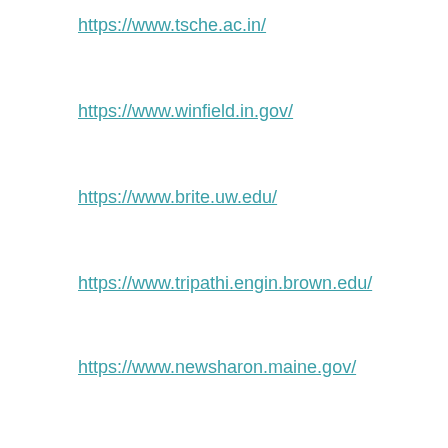https://www.tsche.ac.in/
https://www.winfield.in.gov/
https://www.brite.uw.edu/
https://www.tripathi.engin.brown.edu/
https://www.newsharon.maine.gov/
SquareSpace stats and facts
SquareSpace is the equivalent of Wix, having almost the same proof of concept and targeting